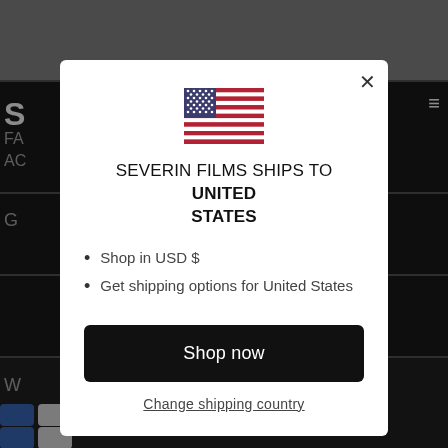[Figure (screenshot): Background of a dark-themed website (Severin Films) with navigation elements and payment icons, partially visible behind a modal overlay.]
[Figure (illustration): Modal dialog box with a US flag, heading 'SEVERIN FILMS SHIPS TO UNITED STATES', bullet points about USD shopping and shipping options, a 'Shop now' button, and a 'Change shipping country' link.]
SEVERIN FILMS SHIPS TO UNITED STATES
Shop in USD $
Get shipping options for United States
Shop now
Change shipping country